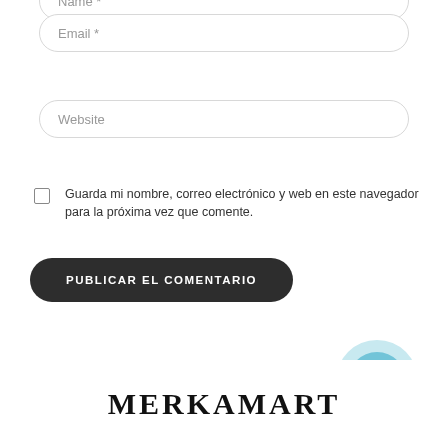[Figure (screenshot): Partial input field labeled 'Name *' cut off at top of page]
[Figure (screenshot): Input field labeled 'Email *' with rounded border]
[Figure (screenshot): Input field labeled 'Website' with rounded border]
Guarda mi nombre, correo electrónico y web en este navegador para la próxima vez que comente.
[Figure (screenshot): Dark rounded button labeled 'PUBLICAR EL COMENTARIO']
[Figure (illustration): Light blue circle with phone icon inside]
MERKAMART